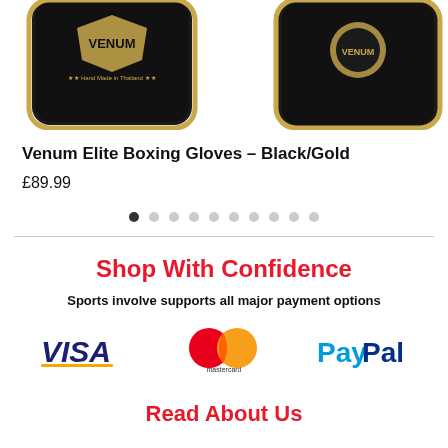[Figure (photo): Two Venum Elite Boxing Gloves in black and gold, shown from the front, cropped at the top of the page]
Venum Elite Boxing Gloves – Black/Gold
£89.99
[Figure (other): Carousel navigation dots, first dot filled/active, nine others empty]
Shop With Confidence
Sports involve supports all major payment options
[Figure (infographic): Payment logos: VISA (blue and gold italic text), Mastercard (red and orange overlapping circles with 'mastercard' text), PayPal (blue and dark blue text)]
Read About Us